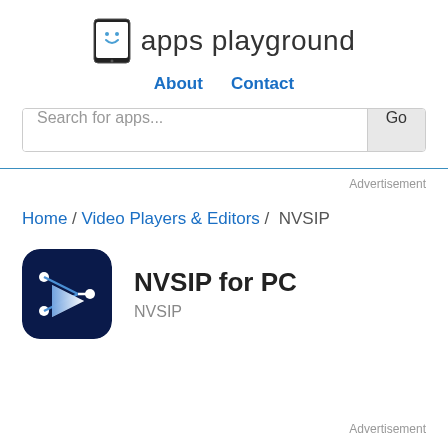[Figure (logo): Apps Playground logo: tablet icon with smiley face and handwritten-style text 'apps playground']
About   Contact
Search for apps...   Go
Advertisement
Home / Video Players & Editors / NVSIP
[Figure (logo): NVSIP app icon: dark navy blue rounded square with a white play button arrow and dots connected by lines]
NVSIP for PC
NVSIP
Advertisement